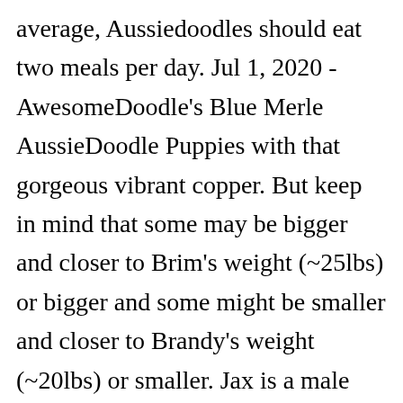average, Aussiedoodles should eat two meals per day. Jul 1, 2020 - AwesomeDoodle's Blue Merle AussieDoodle Puppies with that gorgeous vibrant copper. But keep in mind that some may be bigger and closer to Brim's weight (~25lbs) or bigger and some might be smaller and closer to Brandy's weight (~20lbs) or smaller. Jax is a male phantom blue merle mini AussieDoodle puppy with very vibrant phantom copper markings. A. Aussiedoodles can vary from medium to small in size, since they can either be mixed with a Miniature or a Toy Poodle, with the Miniature